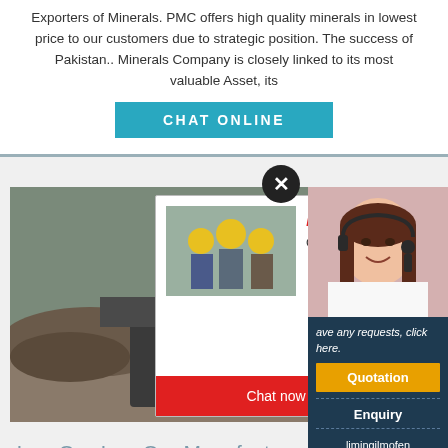Exporters of Minerals. PMC offers high quality minerals in lowest price to our customers due to strategic position. The success of Pakistan.. Minerals Company is closely linked to its most valuable Asset, its
[Figure (screenshot): Teal/cyan CHAT ONLINE button]
[Figure (screenshot): Website screenshot showing a mining equipment photo with a live chat popup overlay, a worker/customer service representative photo on right, and a dark blue sidebar with Quotation, Enquiry, and email contact options]
Iron Ore-Iron Ore Manufacturers,